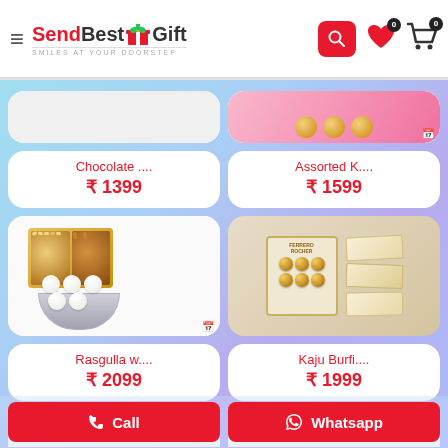SendBestGift – SMILES AT YOUR DOORSTEP
[Figure (photo): Partially visible product card (top cropped) on left]
[Figure (photo): Partially visible product card with pink chocolates box (top cropped) on right]
Chocolate ....
₹ 1399
Assorted K....
₹ 1599
[Figure (photo): Rasgulla with dry fruits box – a golden dry fruit tray and a bowl of white rasgulla sweets]
[Figure (photo): Kaju Burfi with Ferrero Rocher chocolates – ferrero rocher box with kaju barfi pieces]
Rasgulla w....
₹ 2099
Kaju Burfi....
₹ 1999
[Figure (photo): Partially visible product card at bottom left (cut off)]
[Figure (photo): Partially visible product card at bottom right (cut off)]
Call  |  Whatsapp